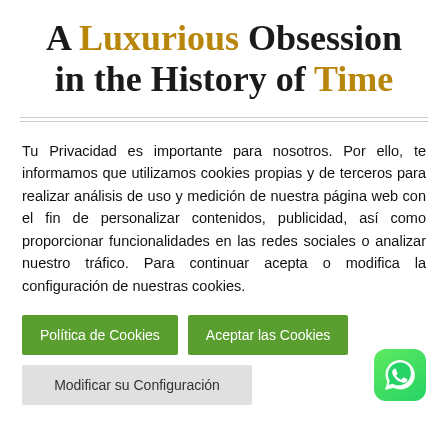A Luxurious Obsession in the History of Time
Tu Privacidad es importante para nosotros. Por ello, te informamos que utilizamos cookies propias y de terceros para realizar análisis de uso y medición de nuestra página web con el fin de personalizar contenidos, publicidad, así como proporcionar funcionalidades en las redes sociales o analizar nuestro tráfico. Para continuar acepta o modifica la configuración de nuestras cookies.
Política de Cookies
Aceptar las Cookies
Modificar su Configuración
[Figure (logo): WhatsApp green rounded square icon with white phone handset symbol]